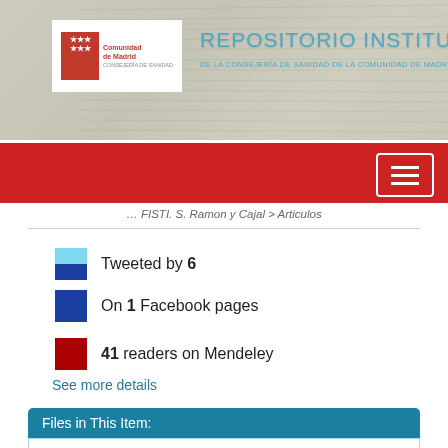[Figure (screenshot): Repositorio Institucional de la Consejería de Sanidad de la Comunidad de Madrid banner with logo and teal title text on a textured background]
[Figure (screenshot): Red navigation bar with hamburger menu icon on the right]
FISTI. S. Ramon y Cajal > Articulos
Tweeted by 6
On 1 Facebook pages
41 readers on Mendeley
See more details
| File | Description | Size | Format |
| --- | --- | --- | --- |